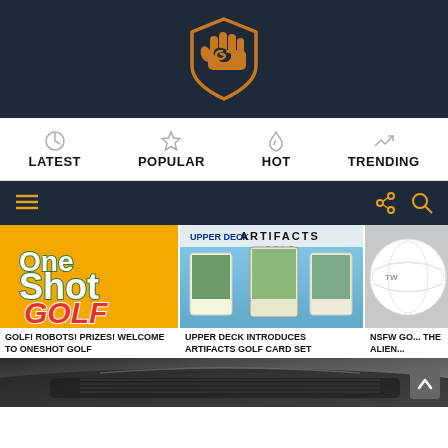[Figure (logo): Sports website logo: orange fist/shield icon on dark navy background]
LATEST | POPULAR | HOT | TRENDING
Menu and search toolbar
[Figure (screenshot): OneShot Golf logo on orange background]
GOLF! ROBOTS! PRIZES! WELCOME TO ONESHOT GOLF
[Figure (screenshot): Upper Deck Artifacts Golf card set promotional image]
UPPER DECK INTRODUCES ARTIFACTS GOLF CARD SET
[Figure (screenshot): NSFW Golf - partial image of golf ball]
NSFW GO... THE ALIEN...
[Figure (photo): Close-up of a golf club iron head, dark colored]